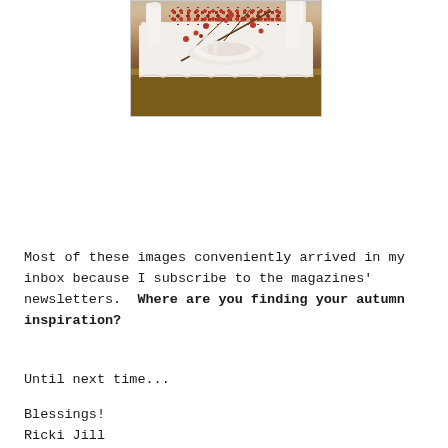[Figure (photo): A decorated autumn dining table with white candles, red berry branches, white dishes and plates on a wooden table surface with a white tablecloth.]
Most of these images conveniently arrived in my inbox because I subscribe to the magazines' newsletters. Where are you finding your autumn inspiration?
Until next time...
Blessings!
Ricki Jill